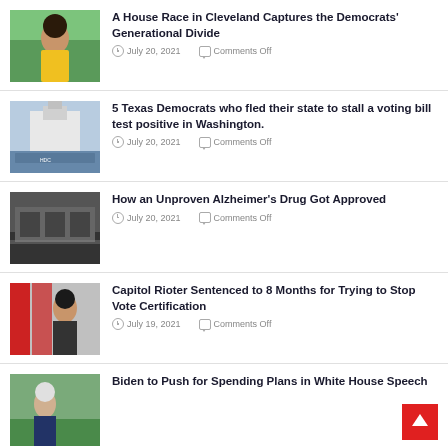[Figure (photo): Person in yellow shirt outdoors]
A House Race in Cleveland Captures the Democrats’ Generational Divide
July 20, 2021   Comments Off
[Figure (photo): Group of people in front of US Capitol building with sign]
5 Texas Democrats who fled their state to stall a voting bill test positive in Washington.
July 20, 2021   Comments Off
[Figure (photo): Building exterior, dark tones]
How an Unproven Alzheimer’s Drug Got Approved
July 20, 2021   Comments Off
[Figure (photo): Person holding flags at Capitol riot]
Capitol Rioter Sentenced to 8 Months for Trying to Stop Vote Certification
July 19, 2021   Comments Off
[Figure (photo): Biden speaking outdoors near greenery]
Biden to Push for Spending Plans in White House Speech